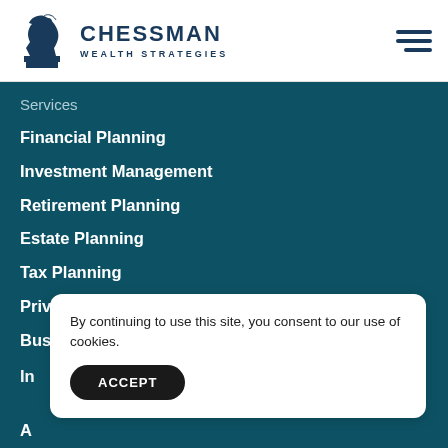[Figure (logo): Chessman Wealth Strategies logo: dark blue chess knight piece with wave/base underneath, beside bold text CHESSMAN WEALTH STRATEGIES]
Services
Financial Planning
Investment Management
Retirement Planning
Estate Planning
Tax Planning
Private Client Services
Business Planning
By continuing to use this site, you consent to our use of cookies.
ACCEPT